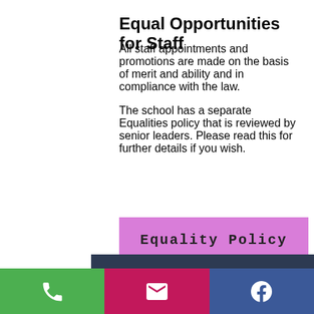Equal Opportunities for Staff
All staff appointments and promotions are made on the basis of merit and ability and in compliance with the law.
The school has a separate Equalities policy that is reviewed by senior leaders. Please read this for further details if you wish.
Equality Policy
Join us on facebook
Contact Us
Tel: 01952 386770